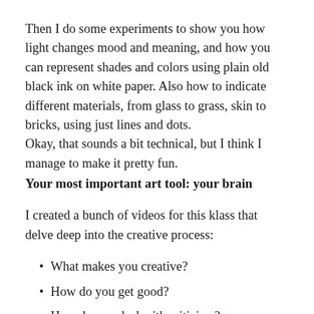Then I do some experiments to show you how light changes mood and meaning, and how you can represent shades and colors using plain old black ink on white paper. Also how to indicate different materials, from glass to grass, skin to bricks, using just lines and dots. Okay, that sounds a bit technical, but I think I manage to make it pretty fun.
Your most important art tool: your brain
I created a bunch of videos for this klass that delve deep into the creative process:
What makes you creative?
How do you get good?
How do you deal with criticism?